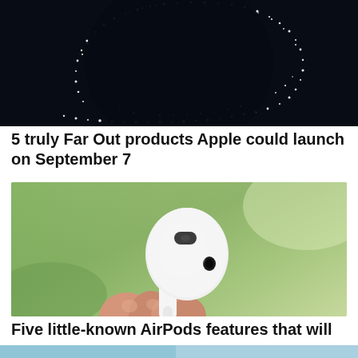[Figure (photo): Dark space-like image with sparkling star/glitter pattern forming a circular arc on a black background]
5 truly Far Out products Apple could launch on September 7
[Figure (photo): Close-up photo of a white AirPod (3rd generation) being held between fingers, with blurred green background]
Five little-known AirPods features that will amaze your ears
[Figure (photo): Partial bottom strip showing the beginning of another article thumbnail with blue/teal background]